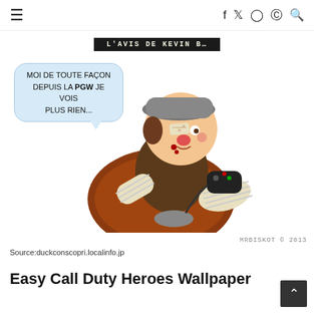≡  f  🐦  📷  pinterest  🔍
[Figure (illustration): Cartoon of a battered gamer character sitting on a bean bag, with bandaged arm and foot, holding a game controller, with a speech bubble saying 'MOI DE TOUTE FAÇON DEPUIS LA PGW JE VOIS PLUS RIEN...' Above is a dark banner reading 'L'AVIS DE KEVIN B...' Credit: MRBISKOT © 2013]
Source:duckconscopri.localinfo.jp
Easy Call Duty Heroes Wallpaper